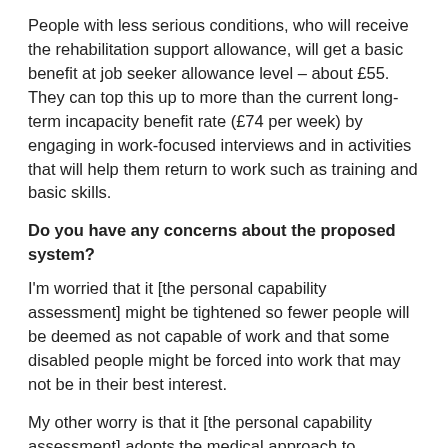People with less serious conditions, who will receive the rehabilitation support allowance, will get a basic benefit at job seeker allowance level – about £55. They can top this up to more than the current long-term incapacity benefit rate (£74 per week) by engaging in work-focused interviews and in activities that will help them return to work such as training and basic skills.
Do you have any concerns about the proposed system?
I'm worried that it [the personal capability assessment] might be tightened so fewer people will be deemed as not capable of work and that some disabled people might be forced into work that may not be in their best interest.
My other worry is that it [the personal capability assessment] adopts the medical approach to disability but I'm in favour of the social one. What I want them to do is